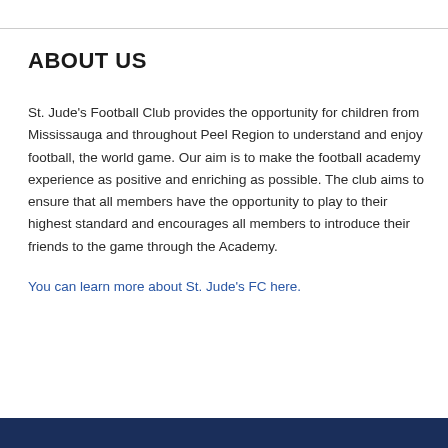ABOUT US
St. Jude's Football Club provides the opportunity for children from Mississauga and throughout Peel Region to understand and enjoy football, the world game. Our aim is to make the football academy experience as positive and enriching as possible. The club aims to ensure that all members have the opportunity to play to their highest standard and encourages all members to introduce their friends to the game through the Academy.
You can learn more about St. Jude's FC here.